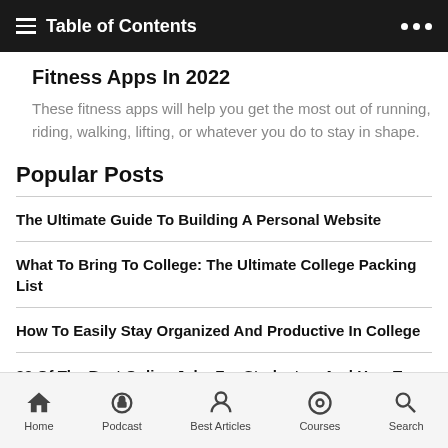Table of Contents
Fitness Apps In 2022
These fitness apps will help you get the most out of running, riding, walking, lifting, or whatever you do to stay in shape.
Popular Posts
The Ultimate Guide To Building A Personal Website
What To Bring To College: The Ultimate College Packing List
How To Easily Stay Organized And Productive In College
23 Of The Best Online Jobs For Students – And How To Get Them
Home  Podcast  Best Articles  Courses  Search